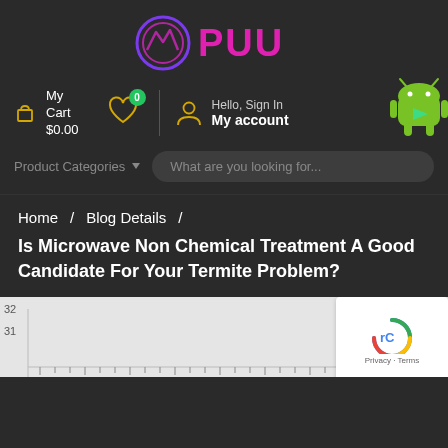[Figure (logo): PUU brand logo with circular emblem on left and stylized text PUU in magenta/pink on dark background]
My Cart $0.00
[Figure (illustration): Heart/wishlist icon with green badge showing 0]
Hello, Sign In My account
Product Categories
What are you looking for...
[Figure (illustration): Android robot mascot icon]
Home / Blog Details /
Is Microwave Non Chemical Treatment A Good Candidate For Your Termite Problem?
[Figure (continuous-plot): Partial chart/graph visible at bottom, light gray background, with axis label 32 and tick marks visible]
[Figure (illustration): Google reCAPTCHA widget with checkbox icon and Privacy/Terms text]